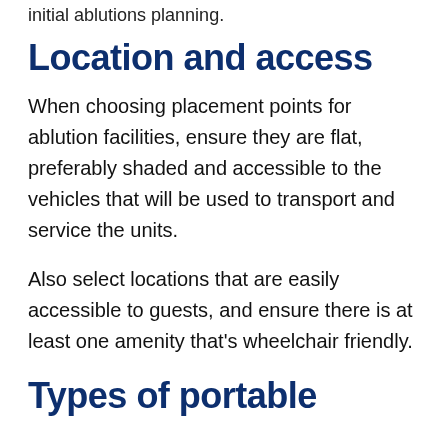initial ablutions planning.
Location and access
When choosing placement points for ablution facilities, ensure they are flat, preferably shaded and accessible to the vehicles that will be used to transport and service the units.
Also select locations that are easily accessible to guests, and ensure there is at least one amenity that's wheelchair friendly.
Types of portable